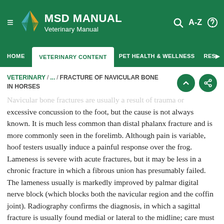MSD MANUAL Veterinary Manual
HOME / VETERINARY CONTENT / PET HEALTH & WELLNESS / RESO
VETERINARY / ... / FRACTURE OF NAVICULAR BONE IN HORSES
Navicular bone fractures are usually a result of trauma or excessive concussion to the foot, but the cause is not always known. It is much less common than distal phalanx fracture and is more commonly seen in the forelimb. Although pain is variable, hoof testers usually induce a painful response over the frog. Lameness is severe with acute fractures, but it may be less in a chronic fracture in which a fibrous union has presumably failed. The lameness usually is markedly improved by palmar digital nerve block (which blocks both the navicular region and the coffin joint). Radiography confirms the diagnosis, in which a sagittal fracture is usually found medial or lateral to the midline; care must be taken to pack the sulci of the